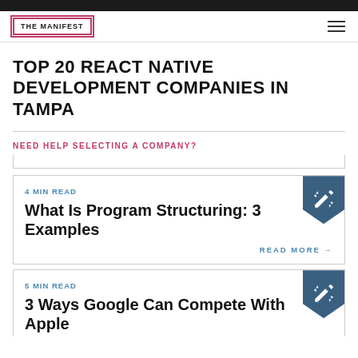THE MANIFEST
TOP 20 REACT NATIVE DEVELOPMENT COMPANIES IN TAMPA
NEED HELP SELECTING A COMPANY?
4 MIN READ
What Is Program Structuring: 3 Examples
READ MORE →
5 MIN READ
3 Ways Google Can Compete With Apple